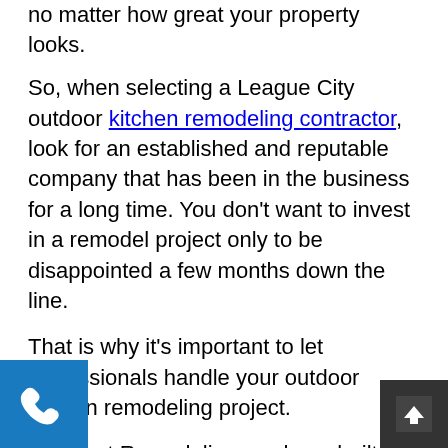no matter how great your property looks.
So, when selecting a League City outdoor kitchen remodeling contractor, look for an established and reputable company that has been in the business for a long time. You don't want to invest in a remodel project only to be disappointed a few months down the line.
That is why it's important to let professionals handle your outdoor kitchen remodeling project.
At Smart Remodeling, we have built our experience and reputation since 2010 and believe we have what it takes to achieve your dream kitchen.
Having your project tackled by our trusted team gives you several benefits, including the following:
Guaranteed work: We offer customer-based